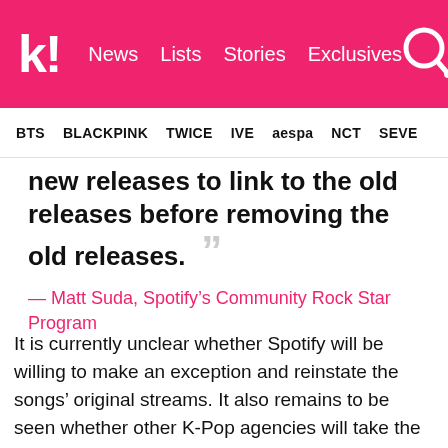k! News Lists Stories Exclusives
BTS BLACKPINK TWICE IVE aespa NCT SEVE
new releases to link to the old releases before removing the old releases. ””
— Matt Suda, Spotify’s Community Rock Star Program
It is currently unclear whether Spotify will be willing to make an exception and reinstate the songs’ original streams. It also remains to be seen whether other K-Pop agencies will take the same path—or if they’re able to at all. Some fans have speculated that P NATION may only have the right to reupload its songs to Spotify